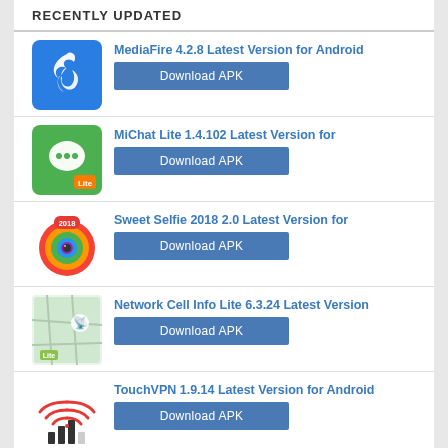RECENTLY UPDATED
MediaFire 4.2.8 Latest Version for Android | Download APK
MiChat Lite 1.4.102 Latest Version for | Download APK
Sweet Selfie 2018 2.0 Latest Version for | Download APK
Network Cell Info Lite 6.3.24 Latest Version | Download APK
TouchVPN 1.9.14 Latest Version for Android | Download APK